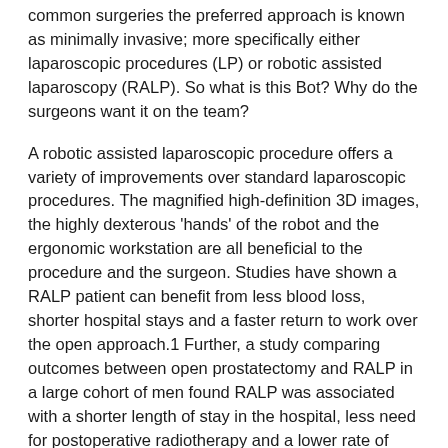common surgeries the preferred approach is known as minimally invasive; more specifically either laparoscopic procedures (LP) or robotic assisted laparoscopy (RALP). So what is this Bot? Why do the surgeons want it on the team?
A robotic assisted laparoscopic procedure offers a variety of improvements over standard laparoscopic procedures. The magnified high-definition 3D images, the highly dexterous 'hands' of the robot and the ergonomic workstation are all beneficial to the procedure and the surgeon. Studies have shown a RALP patient can benefit from less blood loss, shorter hospital stays and a faster return to work over the open approach.1 Further, a study comparing outcomes between open prostatectomy and RALP in a large cohort of men found RALP was associated with a shorter length of stay in the hospital, less need for postoperative radiotherapy and a lower rate of complications that required a return trip to the hospital.3